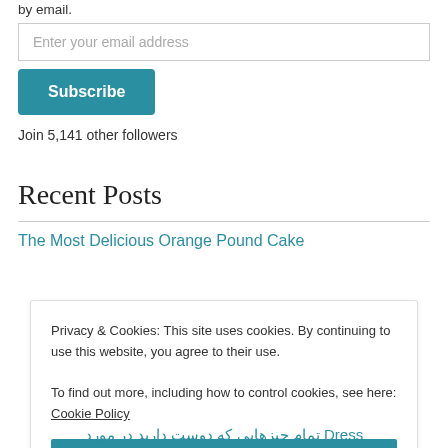by email.
Enter your email address
Subscribe
Join 5,141 other followers
Recent Posts
The Most Delicious Orange Pound Cake
Privacy & Cookies: This site uses cookies. By continuing to use this website, you agree to their use.
To find out more, including how to control cookies, see here: Cookie Policy
Close and accept
تمام چیزهایی که دوست دارید در مورد Dress